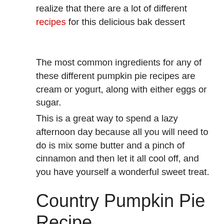realize that there are a lot of different recipes for this delicious bak dessert
The most common ingredients for any of these different pumpkin pie recipes are cream or yogurt, along with either eggs or sugar.
This is a great way to spend a lazy afternoon day because all you will need to do is mix some butter and a pinch of cinnamon and then let it all cool off, and you have yourself a wonderful sweet treat.
Country Pumpkin Pie Recipe
The basic idea behind the Country Pumpkin Pie Recipe is to blend the freshest ingredients and let them soak in the flavors of their surroundings. What better way to do that than to combine...